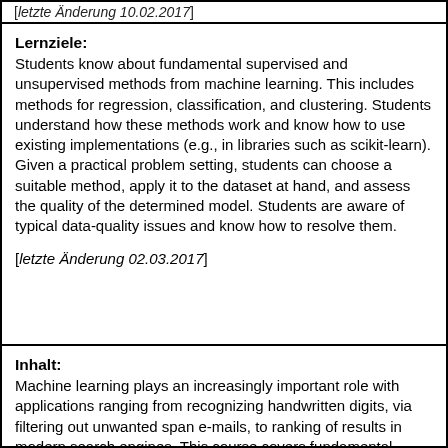[letzte Änderung 10.02.2017]
Lernziele:
Students know about fundamental supervised and unsupervised methods from machine learning. This includes methods for regression, classification, and clustering. Students understand how these methods work and know how to use existing implementations (e.g., in libraries such as scikit-learn). Given a practical problem setting, students can choose a suitable method, apply it to the dataset at hand, and assess the quality of the determined model. Students are aware of typical data-quality issues and know how to resolve them.

[letzte Änderung 02.03.2017]
Inhalt:
Machine learning plays an increasingly important role with applications ranging from recognizing handwritten digits, via filtering out unwanted span e-mails, to ranking of results in modern search engines. This course covers fundamental supervised and unsupervised methods from machine learning. We will look into how these methods are defined formally, including the mathematics behind them. Moreover, we will apply all methods on concrete datasets to solve practical problems. For this, we will rely on existing libraries (e.g., scikit-learn) that provide efficient implementations of the methods. The course is accompanied by theoretical exercises and project assignments. The former help students to deepen their understanding of the methods; the latter encourage students to